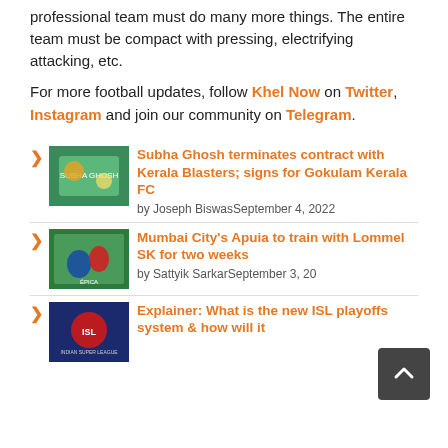professional team must do many more things. The entire team must be compact with pressing, electrifying attacking, etc.
For more football updates, follow Khel Now on Twitter, Instagram and join our community on Telegram.
Subha Ghosh terminates contract with Kerala Blasters; signs for Gokulam Kerala FC — by Joseph Biswas September 4, 2022
Mumbai City's Apuia to train with Lommel SK for two weeks — by Sattyik Sarkar September 3, 2022
Explainer: What is the new ISL playoffs system & how will it